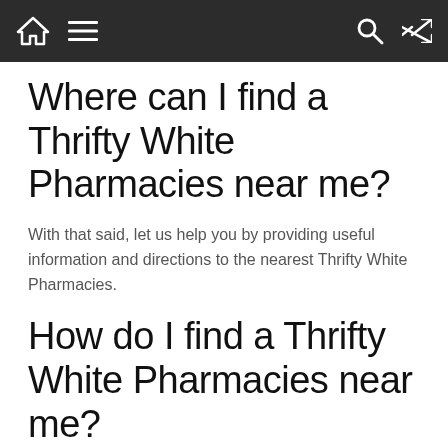Navigation bar with home, menu, search, and shuffle icons
Where can I find a Thrifty White Pharmacies near me?
With that said, let us help you by providing useful information and directions to the nearest Thrifty White Pharmacies.
How do I find a Thrifty White Pharmacies near me?
After selecting the category (such as Diesel or Open